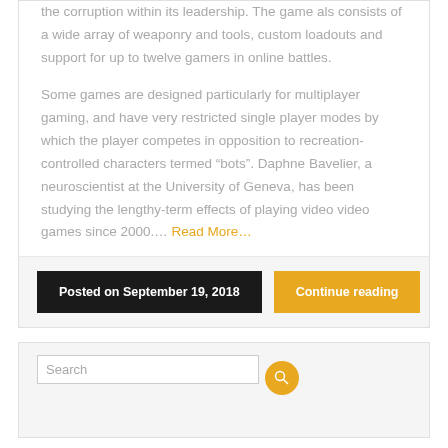the corruption within its leadership. The game als consists of a wide array of weaponry and tools, custom loadouts and support for up to twelve gamers in online battles.
Some games are designed particularly for multiplayer gaming, and have very restricted single player modes by which the player competes in opposition to recreation-controlled characters termed “bots”. Daphne Bavelier, a neuroscientist at the University of Geneva, has been studying the lengthy-term effects of playing video video games since 2000.... Read More...
Posted on September 19, 2018
Continue reading
Search